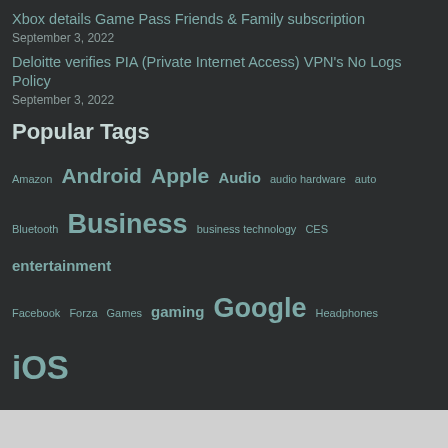Xbox details Game Pass Friends & Family subscription
September 3, 2022
Deloitte verifies PIA (Private Internet Access) VPN's No Logs Policy
September 3, 2022
Popular Tags
Amazon  Android  Apple  Audio  audio hardware  auto  Bluetooth  Business  business technology  CES  entertainment  Facebook  Forza  Games  gaming  Google  Headphones  iOS  iphone  Kickstarter  Laptop  Lenovo  Marvel  Microsoft  Mobile  movies  music  Netflix  Netflix Canada  Playstation 4  Privacy  Review  Reviews  Samsung  Security